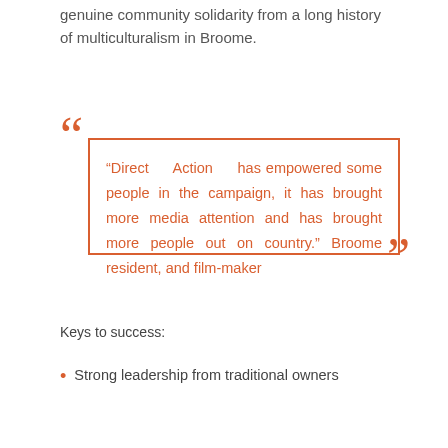genuine community solidarity from a long history of multiculturalism in Broome.
“Direct Action has empowered some people in the campaign, it has brought more media attention and has brought more people out on country.” Broome resident, and film-maker
Keys to success:
Strong leadership from traditional owners